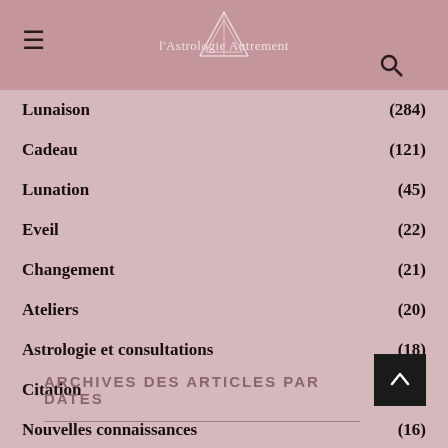l'Astrologie Autrement
Lunaison (284)
Cadeau (121)
Lunation (45)
Eveil (22)
Changement (21)
Ateliers (20)
Astrologie et consultations (18)
Citation (16)
Nouvelles connaissances (16)
Les signes astrologiques (14)
ARCHIVES DES ARTICLES PAR DATES